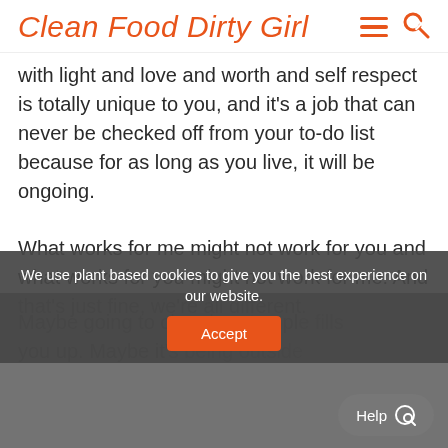Clean Food Dirty Girl
with light and love and worth and self respect is totally unique to you, and it's a job that can never be checked off from your to-do list because for as long as you live, it will be ongoing.
What works for me might not work for you and what works for you might not work for me. And that's just fine, we're all different.
Maybe going to church or temple fills you up. Maybe it's being outside
We use plant based cookies to give you the best experience on our website.